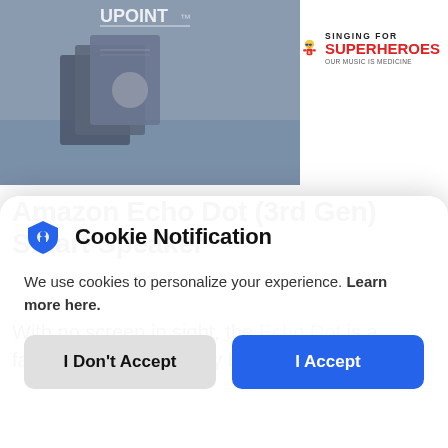[Figure (photo): Product photo showing Amazon Echo Dot boxes/packaging on left, and Singing for Superheroes logo on upper right]
Amazon Echo Dot (3rd Gen) Smart Speaker
With no screen in sight, the Echo Dot is a fantastic addition to any home. Alexa works
Cookie Notification
We use cookies to personalize your experience. Learn more here.
I Don't Accept | I Accept